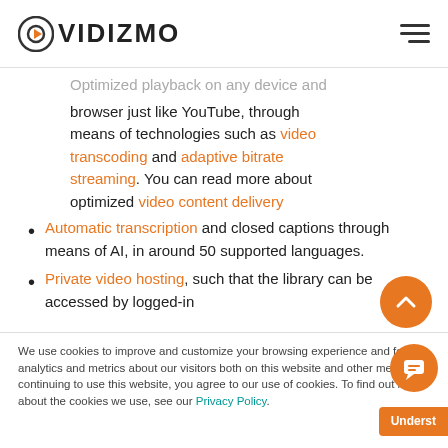[Figure (logo): VIDIZMO logo with circular orange icon on left and bold text VIDIZMO, plus hamburger menu icon on the right]
Optimized playback on any device and browser just like YouTube, through means of technologies such as video transcoding and adaptive bitrate streaming. You can read more about optimized video content delivery
Automatic transcription and closed captions through means of AI, in around 50 supported languages.
Private video hosting, such that the library can be accessed by logged-in
We use cookies to improve and customize your browsing experience and for analytics and metrics about our visitors both on this website and other media. By continuing to use this website, you agree to our use of cookies. To find out more about the cookies we use, see our Privacy Policy.